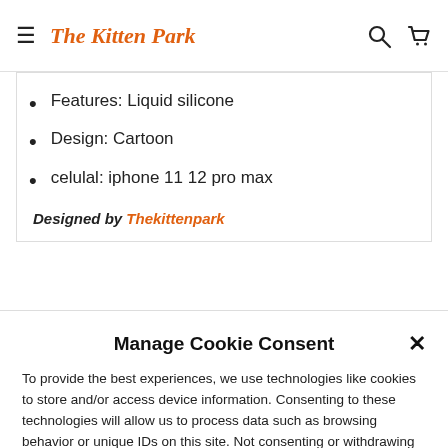The Kitten Park [nav with hamburger, search, cart icons]
Features: Liquid silicone
Design: Cartoon
celulal: iphone 11 12 pro max
Designed by Thekittenpark
Manage Cookie Consent
To provide the best experiences, we use technologies like cookies to store and/or access device information. Consenting to these technologies will allow us to process data such as browsing behavior or unique IDs on this site. Not consenting or withdrawing consent, may adversely affect certain features and functions.
Accept
Cookie Policy  Privacy policy